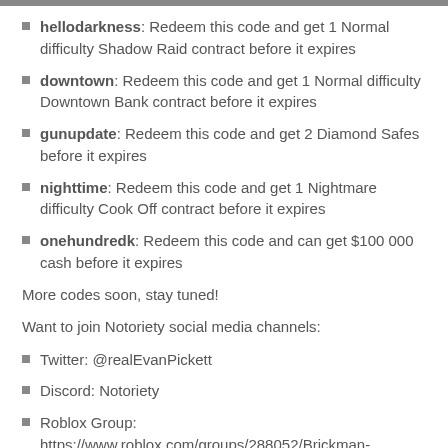hellodarkness: Redeem this code and get 1 Normal difficulty Shadow Raid contract before it expires
downtown: Redeem this code and get 1 Normal difficulty Downtown Bank contract before it expires
gunupdate: Redeem this code and get 2 Diamond Safes before it expires
nighttime: Redeem this code and get 1 Nightmare difficulty Cook Off contract before it expires
onehundredk: Redeem this code and can get $100 000 cash before it expires
More codes soon, stay tuned!
Want to join Notoriety social media channels:
Twitter: @realEvanPickett
Discord: Notoriety
Roblox Group: https://www.roblox.com/groups/288052/Brickman-Nation#!/about